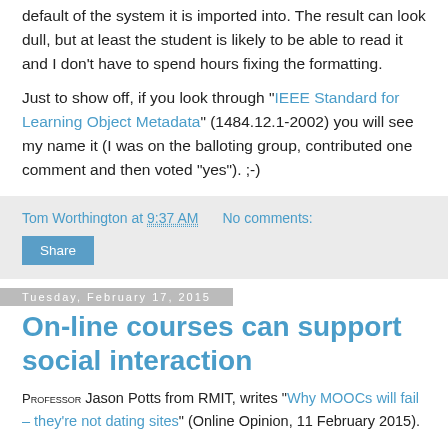default of the system it is imported into. The result can look dull, but at least the student is likely to be able to read it and I don't have to spend hours fixing the formatting.
Just to show off, if you look through "IEEE Standard for Learning Object Metadata" (1484.12.1-2002) you will see my name it (I was on the balloting group, contributed one comment and then voted "yes"). ;-)
Tom Worthington at 9:37 AM   No comments:
Share
Tuesday, February 17, 2015
On-line courses can support social interaction
Professor Jason Potts from RMIT, writes "Why MOOCs will fail – they're not dating sites" (Online Opinion, 11 February 2015).